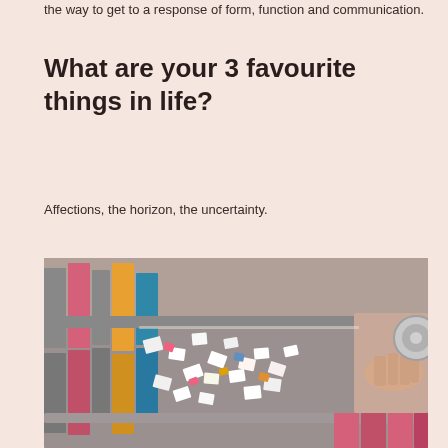the way to get to a response of form, function and communication.
What are your 3 favourite things in life?
Affections, the horizon, the uncertainty.
[Figure (photo): A conveyor belt or cutting machine table covered with small colorful cut pieces of material (possibly soap or plastic), with a person's hand visible on the right side operating equipment. Behind the conveyor are stacks of colorful rectangular blocks in pink, yellow, blue, and other colors.]